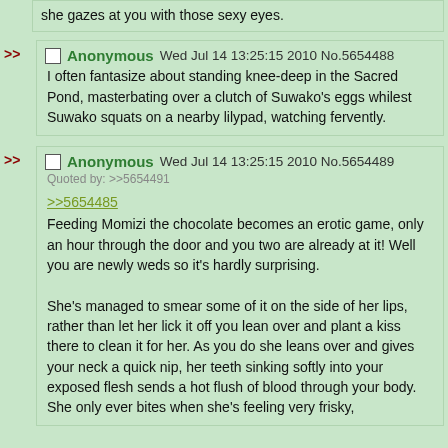she gazes at you with those sexy eyes.
Anonymous Wed Jul 14 13:25:15 2010 No.5654488
I often fantasize about standing knee-deep in the Sacred Pond, masterbating over a clutch of Suwako's eggs whilest Suwako squats on a nearby lilypad, watching fervently.
Anonymous Wed Jul 14 13:25:15 2010 No.5654489
Quoted by: >>5654491
>>5654485
Feeding Momizi the chocolate becomes an erotic game, only an hour through the door and you two are already at it! Well you are newly weds so it's hardly surprising.

She's managed to smear some of it on the side of her lips, rather than let her lick it off you lean over and plant a kiss there to clean it for her. As you do she leans over and gives your neck a quick nip, her teeth sinking softly into your exposed flesh sends a hot flush of blood through your body. She only ever bites when she's feeling very frisky,